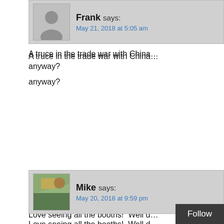Frank says: May 21, 2018 at 5:05 am
A truce in the trade war with China... anyway?
Mike says: May 20, 2018 at 9:59 pm
Love seeing all the booths!  Well d... asap thanks to everyone's exampl... everything we can collectively.
Bella_Fantasia says: May 20, 2018 at 5:02 pm
As most of us already know Goog... what Julian Assange...